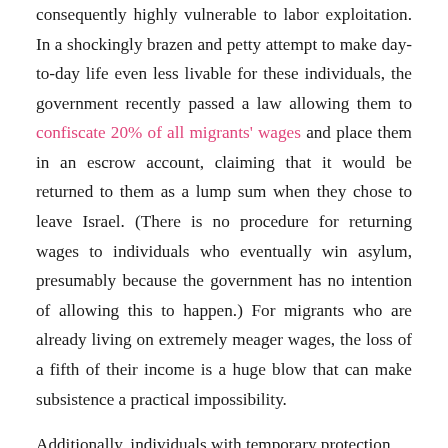consequently highly vulnerable to labor exploitation. In a shockingly brazen and petty attempt to make day-to-day life even less livable for these individuals, the government recently passed a law allowing them to confiscate 20% of all migrants' wages and place them in an escrow account, claiming that it would be returned to them as a lump sum when they chose to leave Israel. (There is no procedure for returning wages to individuals who eventually win asylum, presumably because the government has no intention of allowing this to happen.) For migrants who are already living on extremely meager wages, the loss of a fifth of their income is a huge blow that can make subsistence a practical impossibility.
Additionally, individuals with temporary protection